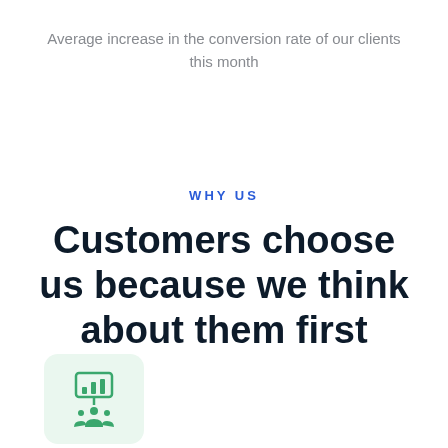Average increase in the conversion rate of our clients this month
WHY US
Customers choose us because we think about them first
[Figure (illustration): A green rounded square icon containing a presentation/whiteboard symbol above a group of people icon, representing customer-focused service.]